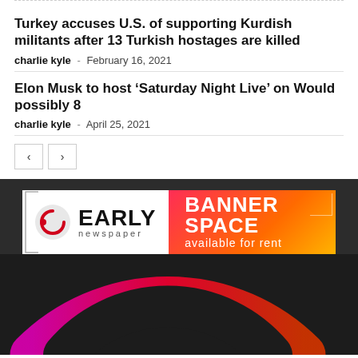Turkey accuses U.S. of supporting Kurdish militants after 13 Turkish hostages are killed
charlie kyle - February 16, 2021
Elon Musk to host ‘Saturday Night Live’ on Would possibly 8
charlie kyle - April 25, 2021
[Figure (photo): Early Newspaper banner advertisement with logo on left and 'BANNER SPACE available for rent' text on right with gradient red-orange background, followed by a dark background with a colorful circular gradient arc in pink/magenta to orange/red.]